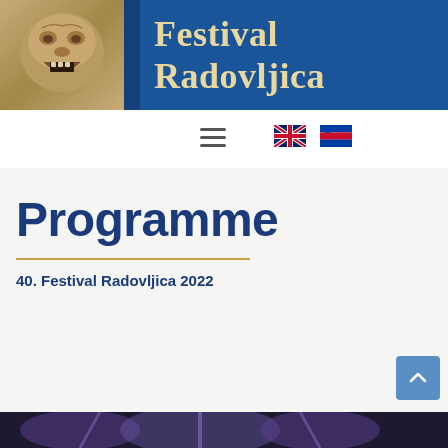[Figure (photo): Header banner with gargoyle/stone face sculpture photo on left and 'Festival Radovljica' text on blue background on right]
Festival Radovljica
[Figure (infographic): Navigation bar with hamburger menu icon on left and UK/Slovenian flag icons on right for language selection]
Programme
40. Festival Radovljica 2022
[Figure (photo): Bottom strip showing part of a photo with purple/blue stage lighting]